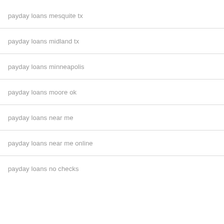payday loans mesquite tx
payday loans midland tx
payday loans minneapolis
payday loans moore ok
payday loans near me
payday loans near me online
payday loans no checks